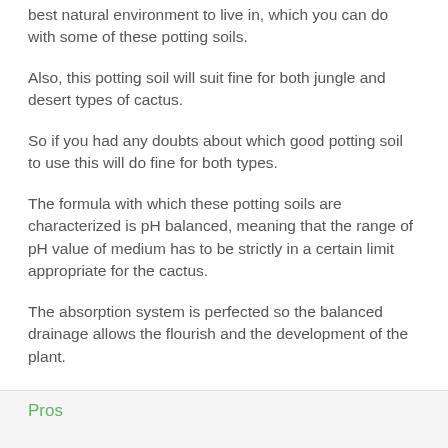best natural environment to live in, which you can do with some of these potting soils.
Also, this potting soil will suit fine for both jungle and desert types of cactus.
So if you had any doubts about which good potting soil to use this will do fine for both types.
The formula with which these potting soils are characterized is pH balanced, meaning that the range of pH value of medium has to be strictly in a certain limit appropriate for the cactus.
The absorption system is perfected so the balanced drainage allows the flourish and the development of the plant.
Pros